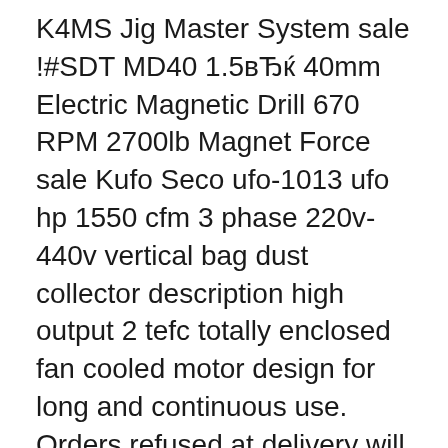K4MS Jig Master System sale !#SDT MD40 1.5вЂќ 40mm Electric Magnetic Drill 670 RPM 2700lb Magnet Force sale Kufo Seco ufo-1013 ufo hp 1550 cfm 3 phase 220v-440v vertical bag dust collector description high output 2 tefc totally enclosed fan cooled motor design for long and continuous use. Orders refused at delivery will be assessed all of the applicable fees listed above including return fee, our shipping costs and a 25 restocking fee.
Kufo Seco 7.5HP Bag Dust Collector: Amazon.co.uk: Welcome. Skip to main content. Try Prime Hello, Sign in Account & Lists Sign in Account & Lists Orders Try Prime Basket. All Go Search